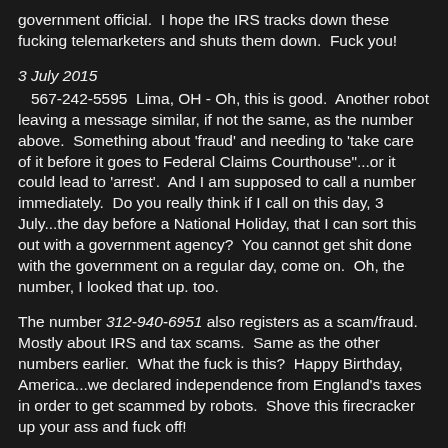government official.  I hope the IRS tracks down these fucking telemarketers and shuts them down.  Fuck you!
3 July 2015
567-242-5595  Lima, OH - Oh, this is good.  Another robot leaving a message similar, if not the same, as the number above.  Something about 'fraud' and needing to 'take care of it before it goes to Federal Claims Courthouse"...or it could lead to 'arrest'.  And I am supposed to call a number immediately.  Do you really think if I call on this day, 3 July...the day before a National Holiday, that I can sort this out with a government agency?  You cannot get shit done with the government on a regular day, come on.  Oh, the number, I looked that up. too.
The number 312-940-6951 also registers as a scam/fraud.  Mostly about IRS and tax scams.  Same as the other numbers earlier.  What the fuck is this?  Happy Birthday, America...we declared independence from England's taxes in order to get scammed by robots.  Shove this firecracker up your ass and fuck off!